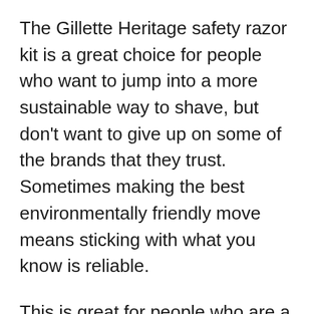The Gillette Heritage safety razor kit is a great choice for people who want to jump into a more sustainable way to shave, but don't want to give up on some of the brands that they trust. Sometimes making the best environmentally friendly move means sticking with what you know is reliable.
This is great for people who are a little apprehensive of some of the new names you find when you shop for safety razors. The Gillette Heritage safety razor kit comes with everything you need to get started in one convenient package that's perfect for